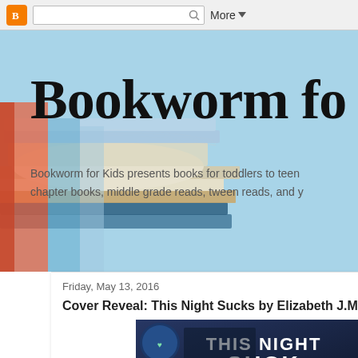[Figure (screenshot): Blogger navbar with orange Blogger icon, search box with magnifying glass icon, and 'More ▾' dropdown button]
[Figure (photo): Blog header banner with light blue background, stacked books photo on left, large bold serif title 'Bookworm fo' (truncated) and subtitle text about books for kids]
Bookworm fo
Bookworm for Kids presents books for toddlers to teen chapter books, middle grade reads, tween reads, and y
Friday, May 13, 2016
Cover Reveal: This Night Sucks by Elizabeth J.M. Walke
[Figure (photo): Book cover for 'THIS NIGHT SUCKS' by Elizabeth J.M. Walker, dark bluish cover with white bold title text and author name]